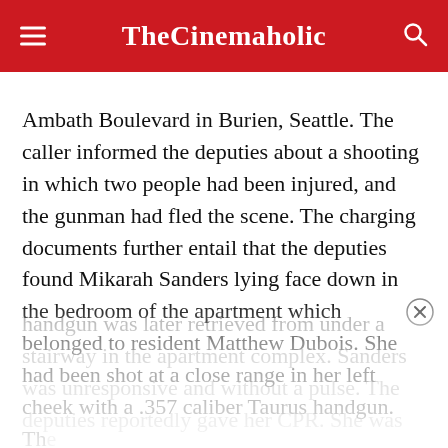TheCinemaholic
Ambath Boulevard in Burien, Seattle. The caller informed the deputies about a shooting in which two people had been injured, and the gunman had fled the scene. The charging documents further entail that the deputies found Mikarah Sanders lying face down in the bedroom of the apartment which belonged to resident Matthew Dubois. She had been shot at a close range in her left cheek with a .357 caliber Taurus handgun. The handgun was later retrieved from under a stairway in the apartment complex. Sanders was unresponsive and without a pulse. The deputies reportedly gave her CPR. She was